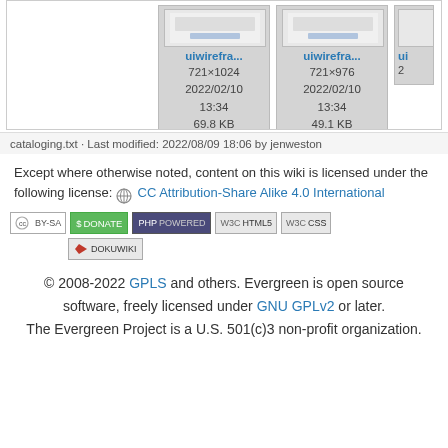[Figure (screenshot): Partial view of a wiki file browser showing thumbnail cards for uiwireframe image files. Left card shows 721×1024, 2022/02/10 13:34, 69.8 KB. Middle card shows 721×976, 2022/02/10 13:34, 49.1 KB. Right card partially visible.]
cataloging.txt · Last modified: 2022/08/09 18:06 by jenweston
Except where otherwise noted, content on this wiki is licensed under the following license: 🌐 CC Attribution-Share Alike 4.0 International
[Figure (infographic): Row of web badges: CC BY-SA, Donate, PHP Powered, W3C HTML5, W3C CSS, and DokuWiki badges]
© 2008-2022 GPLS and others. Evergreen is open source software, freely licensed under GNU GPLv2 or later. The Evergreen Project is a U.S. 501(c)3 non-profit organization.